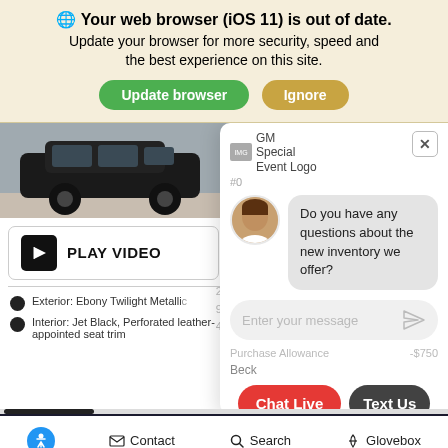🌐 Your web browser (iOS 11) is out of date. Update your browser for more security, speed and the best experience on this site.
Update browser | Ignore
[Figure (screenshot): Partially visible black SUV car image at top left of content area]
PLAY VIDEO
Exterior: Ebony Twilight Metallic
Interior: Jet Black, Perforated leather-appointed seat trim
[Figure (screenshot): GM Special Event Logo image placeholder]
GM Special Event Logo
#0
Do you have any questions about the new inventory we offer?
Enter your message
Purchase Allowance   -$750
Beck
Chat Live   Text Us
Contact   Search   Glovebox